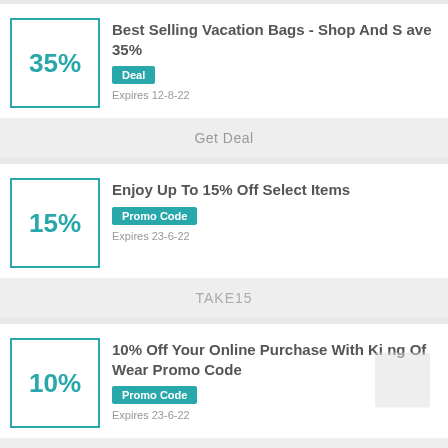[Figure (other): Coupon card: 35% discount box with border, title 'Best Selling Vacation Bags - Shop And Save 35%', Deal badge, Expires 12-8-22, Get Deal button]
Best Selling Vacation Bags - Shop And Save 35%
Deal
Expires 12-8-22
Get Deal
[Figure (other): Coupon card: 15% discount box with border, title 'Enjoy Up To 15% Off Select Items', Promo Code badge, Expires 23-6-22, TAKE15 button]
Enjoy Up To 15% Off Select Items
Promo Code
Expires 23-6-22
TAKE15
[Figure (other): Coupon card: 10% discount box with border, title '10% Off Your Online Purchase With King Of Wear Promo Code', Promo Code badge, Expires 23-6-22]
10% Off Your Online Purchase With King Of Wear Promo Code
Promo Code
Expires 23-6-22
MISSED15